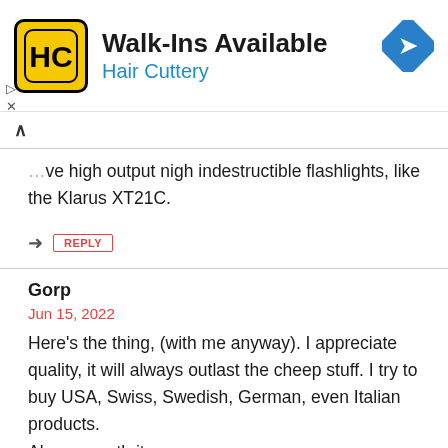[Figure (infographic): Hair Cuttery advertisement banner with logo, text 'Walk-Ins Available', and navigation icon]
love high output nigh indestructible flashlights, like the Klarus XT21C.
REPLY
Gorp
Jun 15, 2022
Here's the thing, (with me anyway). I appreciate quality, it will always outlast the cheep stuff. I try to buy USA, Swiss, Swedish, German, even Italian products. Always worth it.
REPLY
Stuart (post author)
Jun 15, 2022